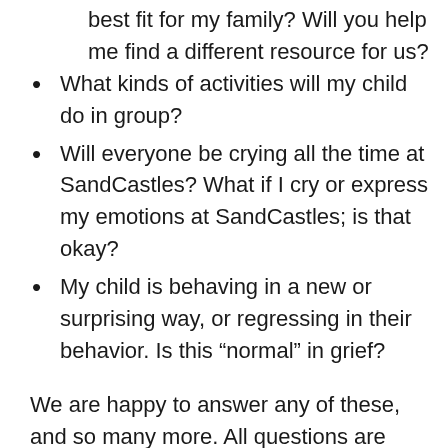best fit for my family? Will you help me find a different resource for us?
What kinds of activities will my child do in group?
Will everyone be crying all the time at SandCastles? What if I cry or express my emotions at SandCastles; is that okay?
My child is behaving in a new or surprising way, or regressing in their behavior. Is this “normal” in grief?
We are happy to answer any of these, and so many more. All questions are welcome.